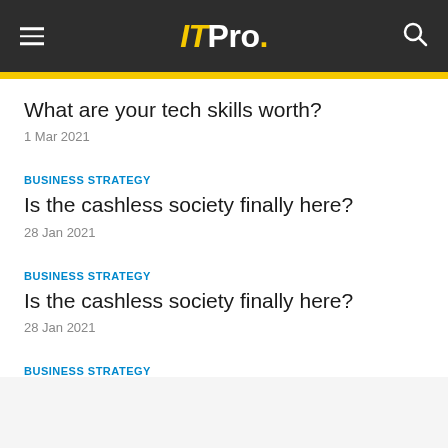ITPro.
What are your tech skills worth?
1 Mar 2021
BUSINESS STRATEGY
Is the cashless society finally here?
28 Jan 2021
BUSINESS STRATEGY
Is the cashless society finally here?
28 Jan 2021
BUSINESS STRATEGY